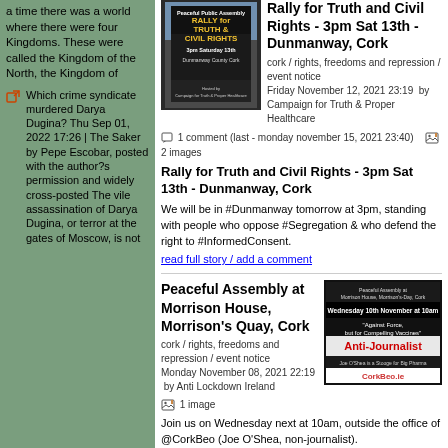a time there was a world where there were four Kingdoms. These were called the Kingdom of the North, the Kingdom of
Which crime syndicate murdered Darya Dugina? Thu Sep 01, 2022 17:26 | The Saker by Pepe Escobar, posted with the author?s permission and widely cross-posted The vile assassination of Darya Dugina, or terror at the gates of Moscow, is not
[Figure (photo): Rally for Truth & Civil Rights poster - 3pm Saturday 13th, Dunmanway County Cork]
Rally for Truth and Civil Rights - 3pm Sat 13th - Dunmanway, Cork
cork / rights, freedoms and repression / event notice Friday November 12, 2021 23:19  by Campaign for Truth & Proper Healthcare   1 comment (last - monday november 15, 2021 23:40)   2 images
Rally for Truth and Civil Rights - 3pm Sat 13th - Dunmanway, Cork
We will be in #Dunmanway tomorrow at 3pm, standing with people who oppose #Segregation & who defend the right to #InformedConsent.
read full story / add a comment
Peaceful Assembly at Morrison House, Morrison's Quay, Cork
[Figure (photo): Anti-Journalist poster - Peaceful Assembly at Morrison House, Morrison's-Day, Cork. Wednesday 10th November at 10am. Against Force, but for Compelling Vaccines. Anti-Journalist. Joe O'Shea is a Stooge for Big Pharma. CorkBeo.ie]
cork / rights, freedoms and repression / event notice Monday November 08, 2021 22:19  by Anti Lockdown Ireland   1 image
Join us on Wednesday next at 10am, outside the office of @CorkBeo (Joe O'Shea, non-journalist).